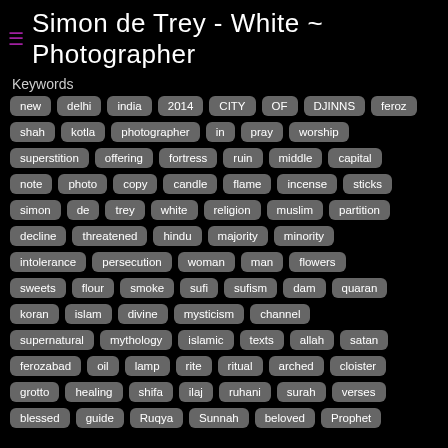≡ Simon de Trey - White ~ Photographer
Keywords
new, delhi, india, 2014, CITY, OF, DJINNS, feroz
shah, kotla, photographer, in, pray, worship
superstition, offering, fortress, ruin, middle, capital
note, photo, copy, candle, flame, incense, sticks
simon, de, trey, white, religion, muslim, partition
decline, threatened, hindu, majority, minority
intolerance, persecution, woman, man, flowers
sweets, flour, smoke, sufi, sufism, dam, quaran
koran, islam, divine, mysticism, channel
supernatural, mythology, islamic, texts, allah, satan
ferozabad, oil, lamp, rite, ritual, arched, cloister
grotto, healing, shifa, ilaj, ruhani, surah, verses
blessed, guide, Ruqya, Sunnah, beloved, Prophet